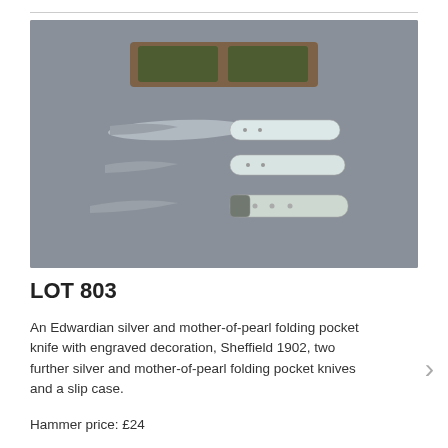[Figure (photo): Three Edwardian silver and mother-of-pearl folding pocket knives laid flat on a grey surface, with an aged slip case at the top.]
LOT 803
An Edwardian silver and mother-of-pearl folding pocket knife with engraved decoration, Sheffield 1902, two further silver and mother-of-pearl folding pocket knives and a slip case.
Hammer price: £24